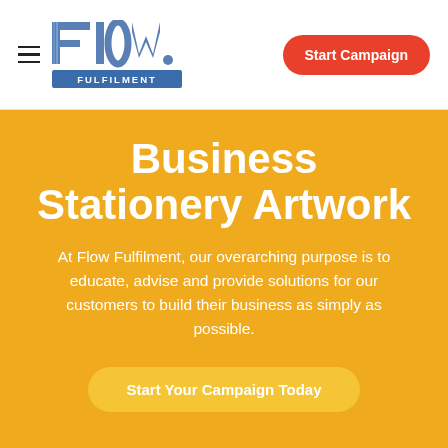[Figure (logo): Flow Fulfilment logo with stylized 'Flow.' text in blue and grey, with 'FULFILMENT' below in a blue bar]
Start Campaign
Business Stationery Artwork
At Flow Fulfilment, our overarching purpose is to educate, advise and provide solutions for our customers to build their business as simply as possible.
Start Your Campaign Today